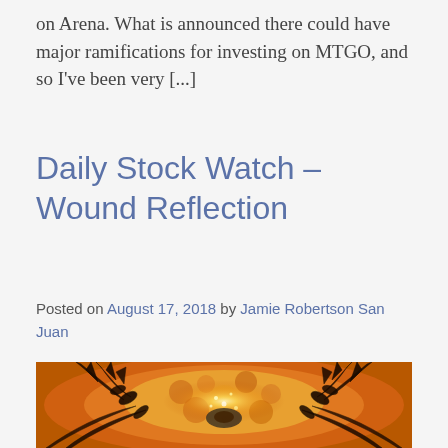on Arena. What is announced there could have major ramifications for investing on MTGO, and so I've been very [...]
Daily Stock Watch – Wound Reflection
Posted on August 17, 2018 by Jamie Robertson San Juan
[Figure (illustration): Fantasy card art showing fiery creature with dark thorny limbs surrounding a glowing orange and gold swirling center, on an orange and amber background]